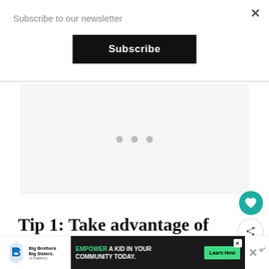Subscribe to our newsletter
×
Subscribe
[Figure (other): Gray advertisement placeholder box with three gray dots indicating loading content]
Tip 1: Take advantage of
[Figure (infographic): Bottom ad banner: Big Brothers Big Sisters logo on left, dark banner reading EMPOWER A KID IN YOUR COMMUNITY TODAY with Learn How button, close X button on right with W superscript icon]